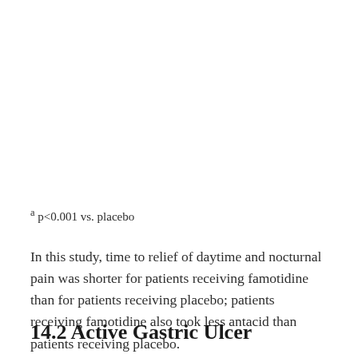a p<0.001 vs. placebo
In this study, time to relief of daytime and nocturnal pain was shorter for patients receiving famotidine than for patients receiving placebo; patients receiving famotidine also took less antacid than patients receiving placebo.
14.2 Active Gastric Ulcer